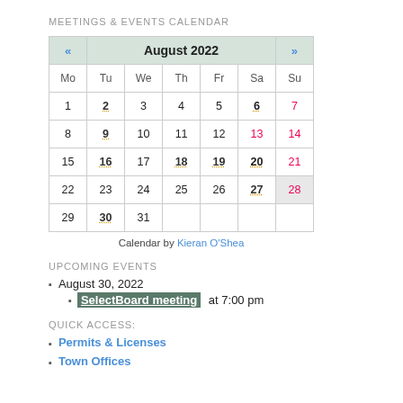MEETINGS & EVENTS CALENDAR
|  | August 2022 |  |
| --- | --- | --- |
| Mo | Tu | We | Th | Fr | Sa | Su |
| 1 | 2 | 3 | 4 | 5 | 6 | 7 |
| 8 | 9 | 10 | 11 | 12 | 13 | 14 |
| 15 | 16 | 17 | 18 | 19 | 20 | 21 |
| 22 | 23 | 24 | 25 | 26 | 27 | 28 |
| 29 | 30 | 31 |  |  |  |  |
Calendar by Kieran O'Shea
UPCOMING EVENTS
August 30, 2022
SelectBoard meeting at 7:00 pm
QUICK ACCESS:
Permits & Licenses
Town Offices